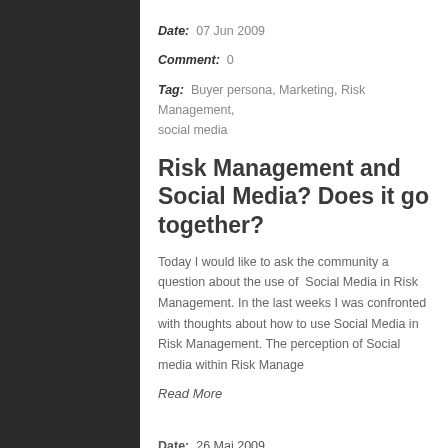Date: 07 Jun 2009
Comment: 0
Tag: Buyer persona, Marketing, Risk Management, social media
Risk Management and Social Media? Does it go together?
Today I would like to ask the community a question about the use of Social Media in Risk Management. In the last weeks I was confronted with thoughts about how to use Social Media in Risk Management. The perception of Social media within Risk Manage
Read More
Date: 26 Mai 2009
Comment: 1
Tag: Customer feedback, Requirement gathering,